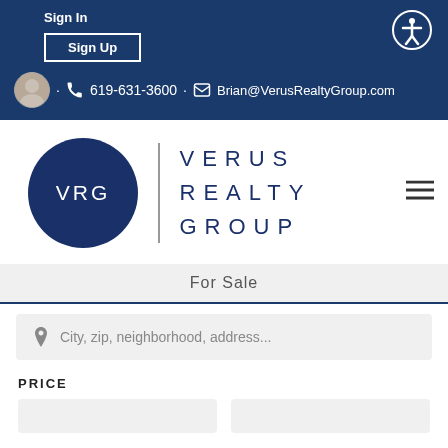Sign In
Sign Up
619-631-3600 · Brian@VerusRealtyGroup.com
[Figure (logo): Verus Realty Group logo with VRG circle and company name text]
For Sale
City, zip, neighborhood, address...
PRICE